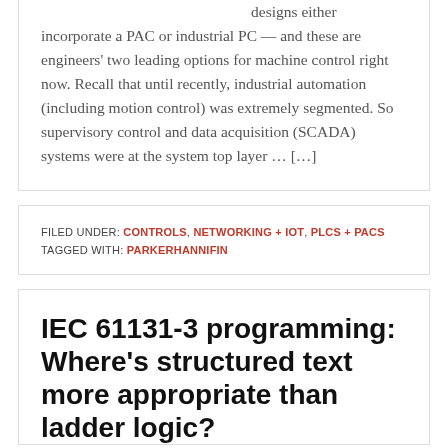designs either incorporate a PAC or industrial PC — and these are engineers' two leading options for machine control right now. Recall that until recently, industrial automation (including motion control) was extremely segmented. So supervisory control and data acquisition (SCADA) systems were at the system top layer … […]
FILED UNDER: CONTROLS, NETWORKING + IOT, PLCS + PACS TAGGED WITH: PARKERHANNIFIN
IEC 61131-3 programming: Where's structured text more appropriate than ladder logic?